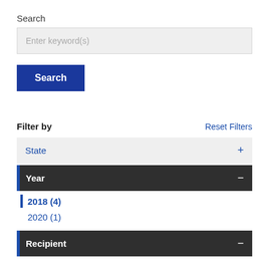Search
[Figure (screenshot): Search input box with placeholder text 'Enter keyword(s)']
[Figure (screenshot): Blue 'Search' button]
Filter by
Reset Filters
State +
Year -
2018 (4)
2020 (1)
Recipient -